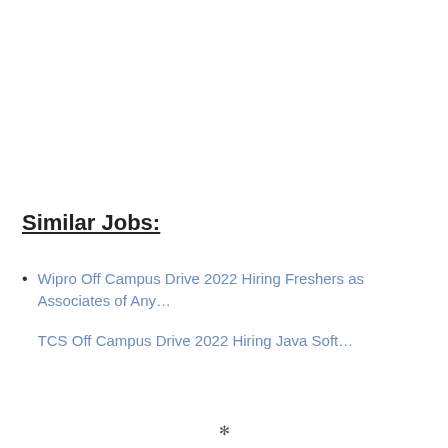Similar Jobs:
Wipro Off Campus Drive 2022 Hiring Freshers as Associates of Any…
TCS Off Campus Drive 2022 Hiring Java Soft…